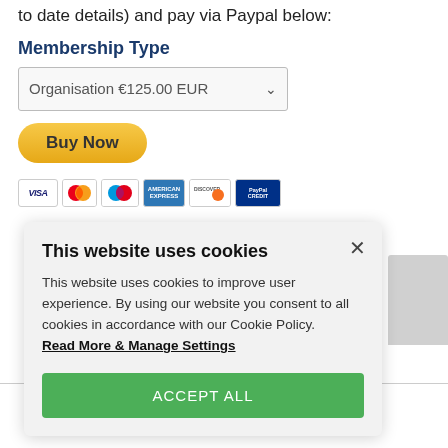to date details) and pay via Paypal below:
Membership Type
[Figure (screenshot): Dropdown selector showing 'Organisation €125.00 EUR' with a Buy Now PayPal button and payment card icons (VISA, Mastercard, Maestro, Amex, Discover, PayPal Credit)]
[Figure (screenshot): Cookie consent modal overlay with title 'This website uses cookies', body text, 'Read More & Manage Settings' link, and green 'ACCEPT ALL' button]
There are three sections to fill out in total,